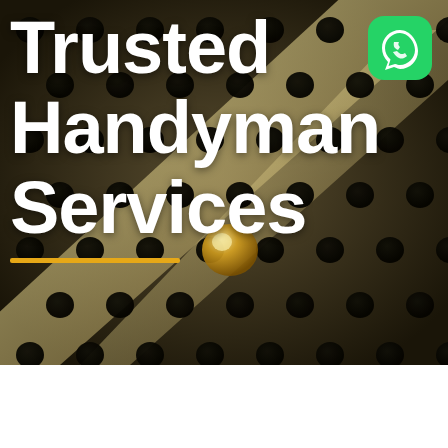[Figure (photo): Dark perforated metal surface with circular holes arranged in a grid pattern, diagonal metal bar visible, golden/brass bolt or screw visible in center, dark bokeh background]
Trusted Handyman Services
[Figure (logo): WhatsApp logo icon — green rounded square with white phone handset in speech bubble]